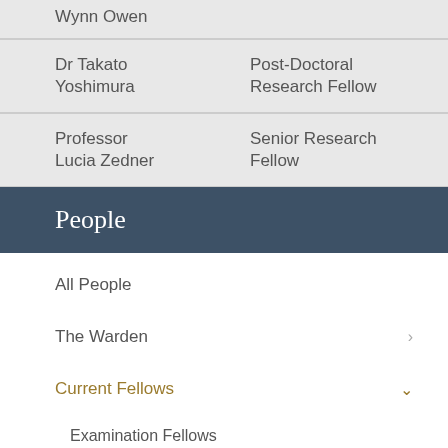Wynn Owen
| Name | Role |
| --- | --- |
| Dr Takato Yoshimura | Post-Doctoral Research Fellow |
| Professor Lucia Zedner | Senior Research Fellow |
People
All People
The Warden
Current Fellows
Examination Fellows
Post-Doctoral Research Fellows
Senior Research Fellows